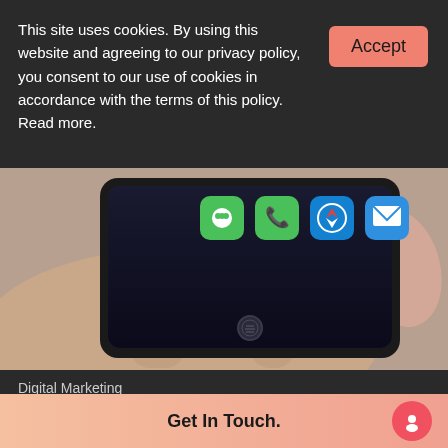This site uses cookies. By using this website and agreeing to our privacy policy, you consent to our use of cookies in accordance with the terms of this policy. Read more.
Accept
[Figure (photo): Close-up photo of a hand holding a smartphone showing the iOS home screen with app icons including Messages, Phone, Safari, and Mail.]
Digital Marketing
Social Media Marketing trends in 2021 for Shopify merchants
Get In Touch.